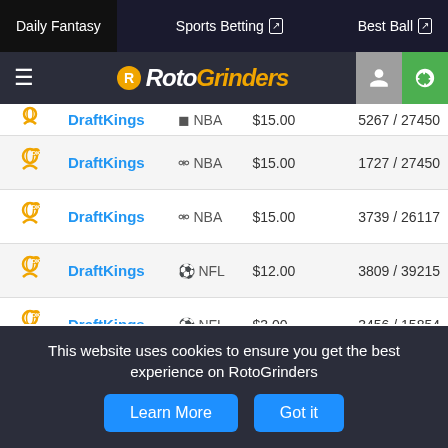Daily Fantasy | Sports Betting | Best Ball
[Figure (logo): RotoGrinders logo with hamburger menu and user/dollar icons]
| Site | Sport | Entry Fee | Entries |
| --- | --- | --- | --- |
| DraftKings | NBA | $15.00 | 5267 / 27450 |
| DraftKings | NBA | $15.00 | 1727 / 27450 |
| DraftKings | NBA | $15.00 | 3739 / 26117 |
| DraftKings | NFL | $12.00 | 3809 / 39215 |
| DraftKings | NFL | $3.00 | 3456 / 15854 |
| FanDuel | NFL | $5.00 | 49286 / 297390 |
| FanDuel | NFL | $5.00 | 39714 / 297390 |
This website uses cookies to ensure you get the best experience on RotoGrinders
Learn More  Got it